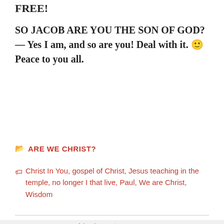FREE!
SO JACOB ARE YOU THE SON OF GOD? — Yes I am, and so are you! Deal with it. 🙂 Peace to you all.
ARE WE CHRIST?
Christ In You, gospel of Christ, Jesus teaching in the temple, no longer I that live, Paul, We are Christ, Wisdom
[Figure (screenshot): MAC cosmetics advertisement banner showing lipsticks and SHOP NOW button]